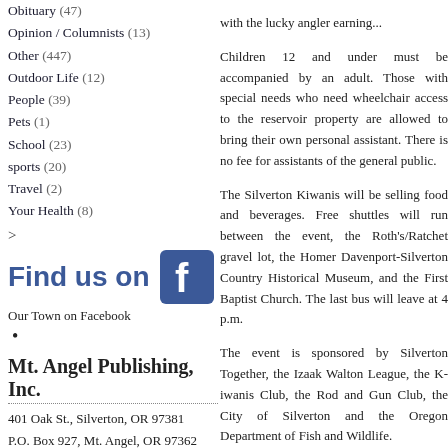Obituary (47)
Opinion / Columnists (13)
Other (447)
Outdoor Life (12)
People (39)
Pets (1)
School (23)
sports (20)
Travel (2)
Your Health (8)
>
[Figure (logo): Find us on Facebook logo with blue Facebook icon]
Our Town on Facebook
•
Mt. Angel Publishing, Inc.
401 Oak St., Silverton, OR 97381
P.O. Box 927, Mt. Angel, OR 97362
phone: 503-845-9499
fax: 503-845-9202
email: ourtown@mtangelpub.com
web: www.mtangelpub.com
•
with the lucky angler earning...
Children 12 and under mu... adult. Those with special... access to the reservoir prop... own personal assistant. The... the general public.
The Silverton Kiwanis wi... beverages. Free shuttles w... the Roth's/Ratchet gravel lo... Silverton Country Historical... Church. The last bus will lea...
The event is sponsored b... Izaak Walton League, the K... Club, the City of Silverton a... of Fish and Wildlife.
Call Silverton Together a... information.